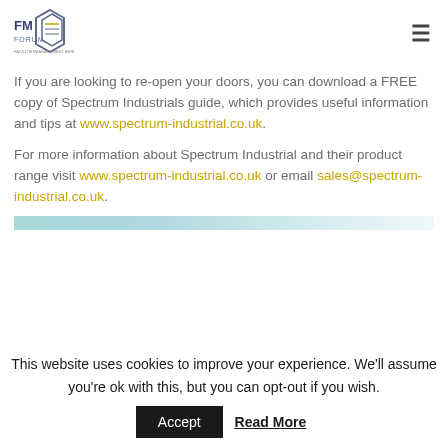FM Forum logo and navigation menu
If you are looking to re-open your doors, you can download a FREE copy of Spectrum Industrials guide, which provides useful information and tips at www.spectrum-industrial.co.uk.
For more information about Spectrum Industrial and their product range visit www.spectrum-industrial.co.uk or email sales@spectrum-industrial.co.uk.
[Figure (other): Teal/light blue decorative horizontal bar]
This website uses cookies to improve your experience. We'll assume you're ok with this, but you can opt-out if you wish.
Accept   Read More